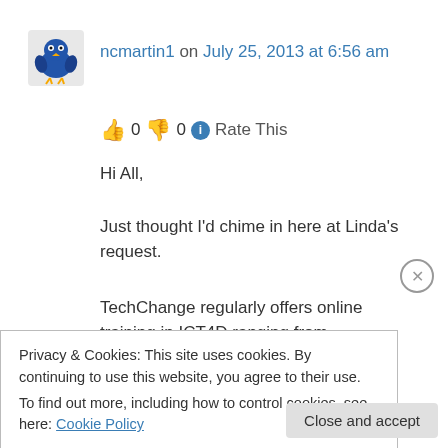[Figure (illustration): Blue cartoon bird avatar for user ncmartin1]
ncmartin1 on July 25, 2013 at 6:56 am
👍 0 👎 0 ℹ Rate This
Hi All,
Just thought I'd chime in here at Linda's request.
TechChange regularly offers online training in ICT4D ranging from
* Mobiles for International Development
* Social Media for Social Change
Privacy & Cookies: This site uses cookies. By continuing to use this website, you agree to their use.
To find out more, including how to control cookies, see here: Cookie Policy
Close and accept